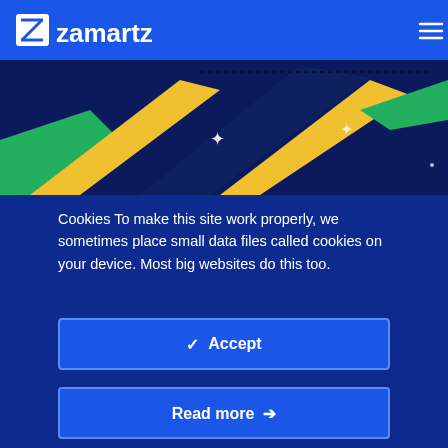[Figure (screenshot): Zamartz website header with logo on blue background and decorative image of pens/markers in yellow, green, dark navy colors]
Cookies To make this site work properly, we sometimes place small data files called cookies on your device. Most big websites do this too.
✓ Accept
Read more →
Change Settings ⚙